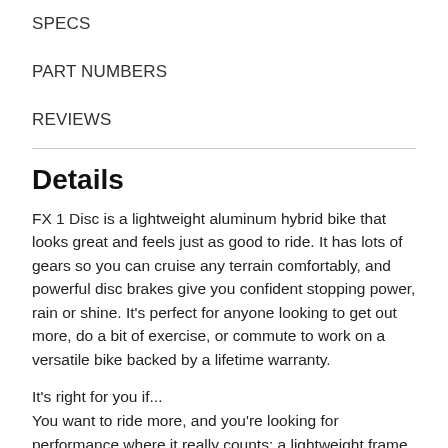SPECS
PART NUMBERS
REVIEWS
Details
FX 1 Disc is a lightweight aluminum hybrid bike that looks great and feels just as good to ride. It has lots of gears so you can cruise any terrain comfortably, and powerful disc brakes give you confident stopping power, rain or shine. It's perfect for anyone looking to get out more, do a bit of exercise, or commute to work on a versatile bike backed by a lifetime warranty.
It's right for you if...
You want to ride more, and you're looking for performance where it really counts: a lightweight frame, wide range of gears...